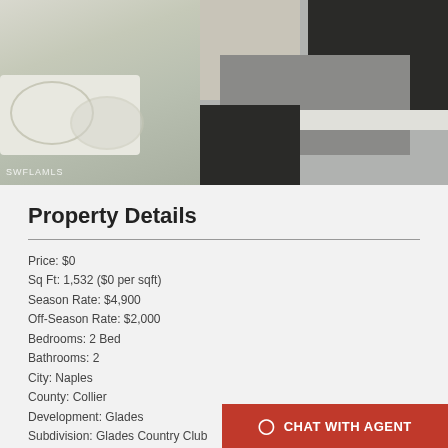[Figure (photo): Two interior room photos side by side: left shows white wicker furniture with glass table in a living room, right shows geometric patterned rug with dark brown and gray sections on floor. SWFLAMLS watermark in bottom-left corner.]
Property Details
Price: $0
Sq Ft: 1,532 ($0 per sqft)
Season Rate: $4,900
Off-Season Rate: $2,000
Bedrooms: 2 Bed
Bathrooms: 2
City: Naples
County: Collier
Development: Glades
Subdivision: Glades Country Club
Year Built: 1975
Listing Number: 221057692